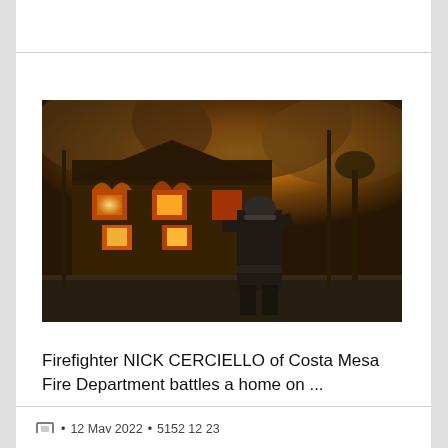[Figure (photo): A firefighter in full gear silhouetted against a burning building with smoke and orange flames in the background.]
Firefighter NICK CERCIELLO of Costa Mesa Fire Department battles a home on ...
🖼 • 12 May 2022 • 5152 12 23